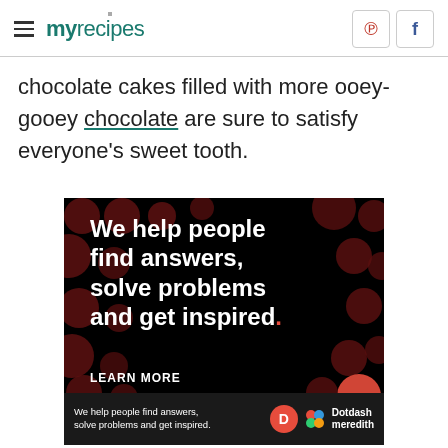myrecipes
chocolate cakes filled with more ooey-gooey chocolate are sure to satisfy everyone's sweet tooth.
[Figure (infographic): Advertisement banner from Dotdash Meredith: black background with dark red polka dots pattern. White bold text reads 'We help people find answers, solve problems and get inspired.' with a red period. Bottom strip shows 'We help people find answers, solve problems and get inspired.' with Dotdash Meredith logo.]